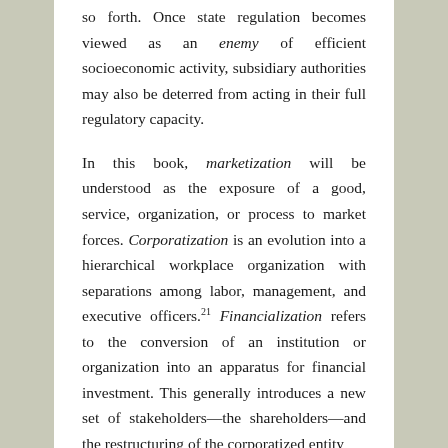so forth. Once state regulation becomes viewed as an enemy of efficient socioeconomic activity, subsidiary authorities may also be deterred from acting in their full regulatory capacity.
In this book, marketization will be understood as the exposure of a good, service, organization, or process to market forces. Corporatization is an evolution into a hierarchical workplace organization with separations among labor, management, and executive officers.21 Financialization refers to the conversion of an institution or organization into an apparatus for financial investment. This generally introduces a new set of stakeholders—the shareholders—and the restructuring of the corporatized entity